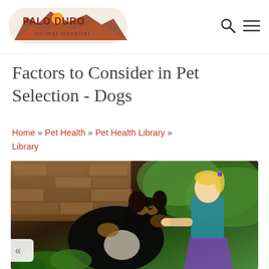Palo Duro Animal Hospital — logo and navigation
Factors to Consider in Pet Selection - Dogs
Home » Pet Health » Pet Health Library » Library
[Figure (photo): A young blonde girl in a teal blue top with a purple skirt interacting with a large black, white, and tan Bernese Mountain Dog in front of a stone brick wall with green plants in the background.]